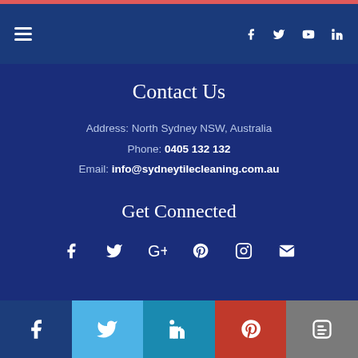Navigation bar with hamburger menu and social icons (Facebook, Twitter, YouTube, LinkedIn)
Contact Us
Address: North Sydney NSW, Australia
Phone: 0405 132 132
Email: info@sydneytilecleaning.com.au
Get Connected
[Figure (infographic): Social media icons row: Facebook, Twitter, Google+, Pinterest, Instagram, Email]
Share bar with Facebook, Twitter, LinkedIn, Pinterest, Blogger buttons